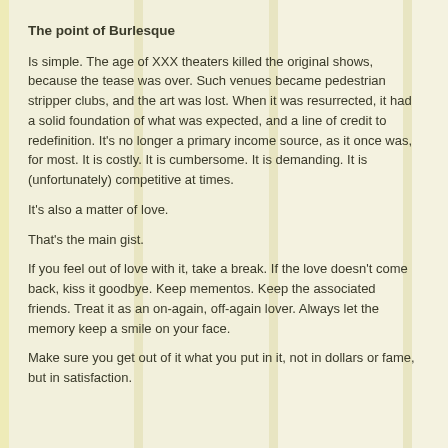The point of Burlesque
Is simple. The age of XXX theaters killed the original shows, because the tease was over. Such venues became pedestrian stripper clubs, and the art was lost. When it was resurrected, it had a solid foundation of what was expected, and a line of credit to redefinition. It's no longer a primary income source, as it once was, for most. It is costly. It is cumbersome. It is demanding. It is (unfortunately) competitive at times.
It's also a matter of love.
That's the main gist.
If you feel out of love with it, take a break. If the love doesn't come back, kiss it goodbye. Keep mementos. Keep the associated friends. Treat it as an on-again, off-again lover. Always let the memory keep a smile on your face.
Make sure you get out of it what you put in it, not in dollars or fame, but in satisfaction.